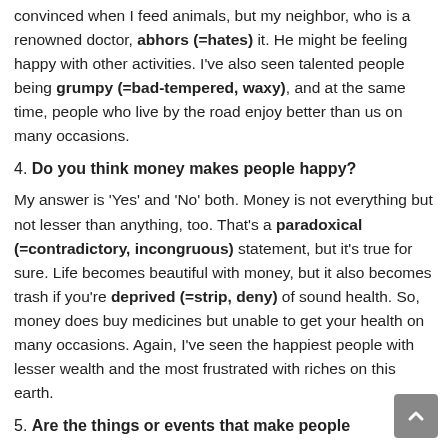convinced when I feed animals, but my neighbor, who is a renowned doctor, abhors (=hates) it. He might be feeling happy with other activities. I've also seen talented people being grumpy (=bad-tempered, waxy), and at the same time, people who live by the road enjoy better than us on many occasions.
4. Do you think money makes people happy?
My answer is 'Yes' and 'No' both. Money is not everything but not lesser than anything, too. That's a paradoxical (=contradictory, incongruous) statement, but it's true for sure. Life becomes beautiful with money, but it also becomes trash if you're deprived (=strip, deny) of sound health. So, money does buy medicines but unable to get your health on many occasions. Again, I've seen the happiest people with lesser wealth and the most frustrated with riches on this earth.
5. Are the things or events that make people